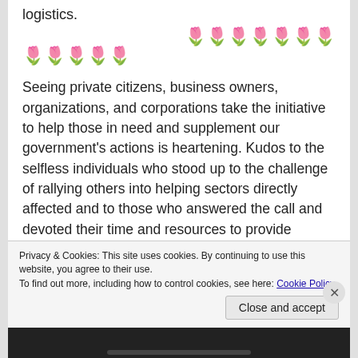logistics.
[Figure (illustration): Two rows of tulip emoji decorations — first row right-aligned with 7 tulips, second row left-aligned with 5 tulips]
Seeing private citizens, business owners, organizations, and corporations take the initiative to help those in need and supplement our government's actions is heartening. Kudos to the selfless individuals who stood up to the challenge of rallying others into helping sectors directly affected and to those who answered the call and devoted their time and resources to provide assistance in their own ways:
Privacy & Cookies: This site uses cookies. By continuing to use this website, you agree to their use.
To find out more, including how to control cookies, see here: Cookie Policy